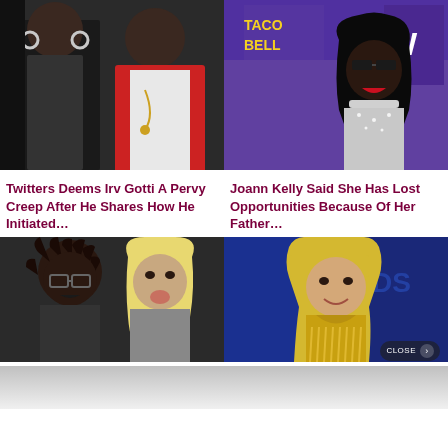[Figure (photo): Two people at a nightclub/event — a woman in a silver/grey outfit with hoop earrings and a man in a red jacket with a white shirt and chain necklace]
[Figure (photo): A young Black woman with long dark wavy hair, wearing sunglasses and a sparkly/white top, posing at a WE TV event in front of a Taco Bell backdrop]
Twitters Deems Irv Gotti A Pervy Creep After He Shares How He Initiated…
Joann Kelly Said She Has Lost Opportunities Because Of Her Father…
[Figure (photo): Two people — a young man with dreadlocks and glasses on the left, and a woman with a blonde bob wig on the right]
[Figure (photo): A woman with long blonde hair with bangs wearing a yellow/gold fringe dress posing at an awards show with a blue backdrop]